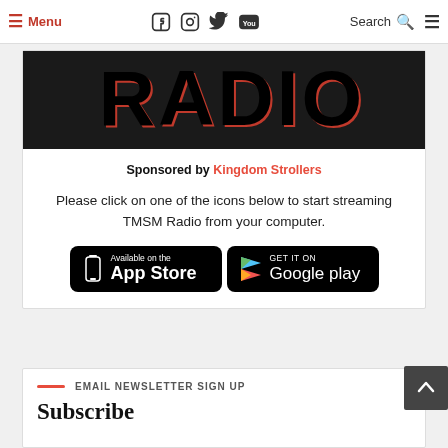☰ Menu  |  [Facebook] [Instagram] [Twitter] [YouTube]  Search Q  ☰
[Figure (logo): TMSM RADIO logo with large bold text 'RADIO' in black with red shadow on dark background]
Sponsored by Kingdom Strollers
Please click on one of the icons below to start streaming TMSM Radio from your computer.
[Figure (screenshot): App Store and Google Play download buttons side by side on black rounded rectangle backgrounds]
EMAIL NEWSLETTER SIGN UP
Subscribe